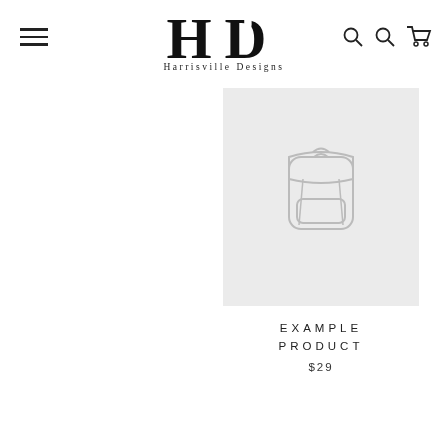Harrisville Designs
[Figure (logo): Harrisville Designs logo with HD monogram and lighthouse icon above text 'Harrisville Designs']
[Figure (photo): Product placeholder image showing a backpack outline on light gray background]
EXAMPLE PRODUCT
$29